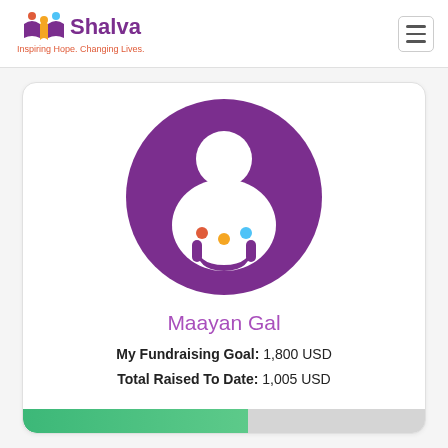Shalva — Inspiring Hope. Changing Lives.
[Figure (logo): Shalva organization logo with colorful figure icon and text 'Shalva — Inspiring Hope. Changing Lives.']
[Figure (illustration): Purple circular profile avatar with white silhouette person and Shalva logo icon overlay]
Maayan Gal
My Fundraising Goal: 1,800 USD
Total Raised To Date: 1,005 USD